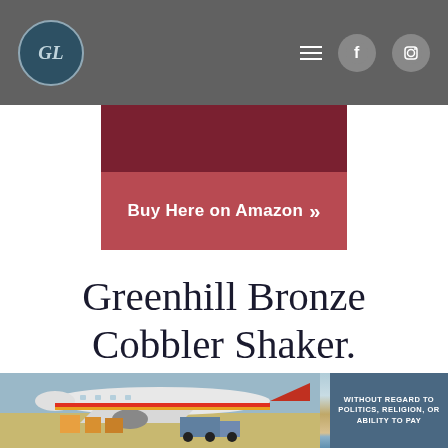GL navigation bar with logo, hamburger menu, Facebook and Instagram icons
[Figure (other): Buy Here on Amazon button with dark red/maroon background and red button]
Greenhill Bronze Cobbler Shaker.
[Figure (photo): Bronze cobbler cocktail shaker product photo, top portion visible]
[Figure (photo): Advertisement banner showing an airplane being loaded with cargo, and a dark blue box with text WITHOUT REGARD TO POLITICS, RELIGION, OR ABILITY TO PAY]